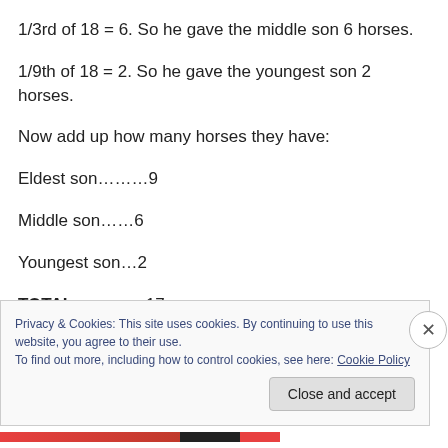1/3rd of 18 = 6. So he gave the middle son 6 horses.
1/9th of 18 = 2. So he gave the youngest son 2 horses.
Now add up how many horses they have:
Eldest son………9
Middle son……6
Youngest son…2
TOTAL …………17
Privacy & Cookies: This site uses cookies. By continuing to use this website, you agree to their use.
To find out more, including how to control cookies, see here: Cookie Policy